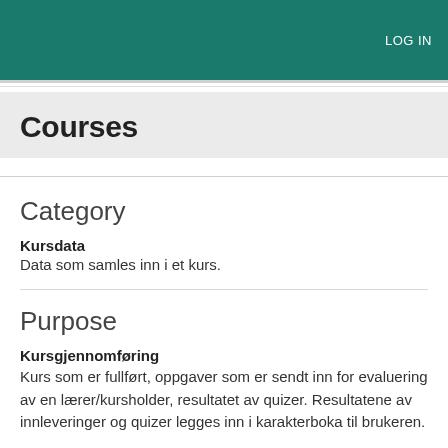LOG IN
Courses
Category
Kursdata
Data som samles inn i et kurs.
Purpose
Kursgjennomføring
Kurs som er fullført, oppgaver som er sendt inn for evaluering av en lærer/kursholder, resultatet av quizer. Resultatene av innleveringer og quizer legges inn i karakterboka til brukeren.